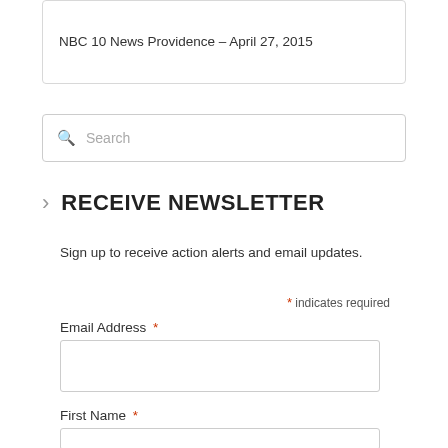NBC 10 News Providence – April 27, 2015
[Figure (screenshot): Search input box with magnifying glass icon and placeholder text 'Search']
RECEIVE NEWSLETTER
Sign up to receive action alerts and email updates.
* indicates required
Email Address *
First Name *